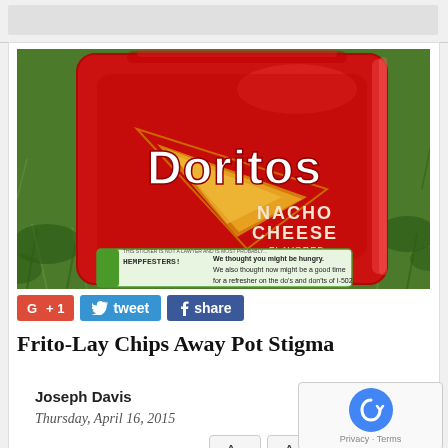[Figure (photo): A red bag of Doritos Nacho Cheese chips lying on green grass, with a green sticker near the bottom that reads 'HEMPFESTERS!' and text about being hungry and I-502 refresher.]
[Figure (infographic): Social sharing buttons: G+ +1 (red), tweet (blue Twitter bird), share (blue Facebook f)]
Frito-Lay Chips Away Pot Stigma
Joseph Davis
Thursday, April 16, 2015
(SNN) In 1970, the U.S. government classified